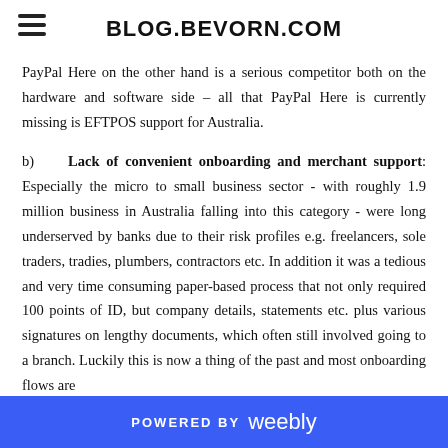BLOG.BEVORN.COM
PayPal Here on the other hand is a serious competitor both on the hardware and software side – all that PayPal Here is currently missing is EFTPOS support for Australia.
b) Lack of convenient onboarding and merchant support: Especially the micro to small business sector - with roughly 1.9 million business in Australia falling into this category - were long underserved by banks due to their risk profiles e.g. freelancers, sole traders, tradies, plumbers, contractors etc. In addition it was a tedious and very time consuming paper-based process that not only required 100 points of ID, but company details, statements etc. plus various signatures on lengthy documents, which often still involved going to a branch. Luckily this is now a thing of the past and most onboarding flows are
POWERED BY weebly